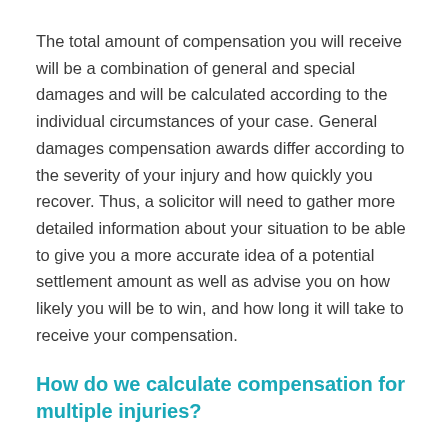The total amount of compensation you will receive will be a combination of general and special damages and will be calculated according to the individual circumstances of your case. General damages compensation awards differ according to the severity of your injury and how quickly you recover. Thus, a solicitor will need to gather more detailed information about your situation to be able to give you a more accurate idea of a potential settlement amount as well as advise you on how likely you will be to win, and how long it will take to receive your compensation.
How do we calculate compensation for multiple injuries?
Numerous injuries in an accident are generally defined as being injuries to different parts of the body that